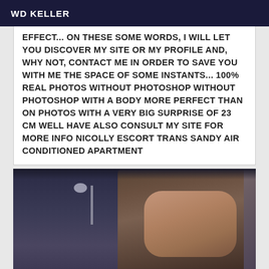WD KELLER
EFFECT... ON THESE SOME WORDS, I WILL LET YOU DISCOVER MY SITE OR MY PROFILE AND, WHY NOT, CONTACT ME IN ORDER TO SAVE YOU WITH ME THE SPACE OF SOME INSTANTS... 100% REAL PHOTOS WITHOUT PHOTOSHOP WITHOUT PHOTOSHOP WITH A BODY MORE PERFECT THAN ON PHOTOS WITH A VERY BIG SURPRISE OF 23 CM WELL HAVE ALSO CONSULT MY SITE FOR MORE INFO NICOLLY ESCORT TRANS SANDY AIR CONDITIONED APARTMENT
[Figure (photo): Blurry photo of a person with long hair, partially visible face, with a lamp or light source visible in the background on the left side. Dark and moody lighting.]